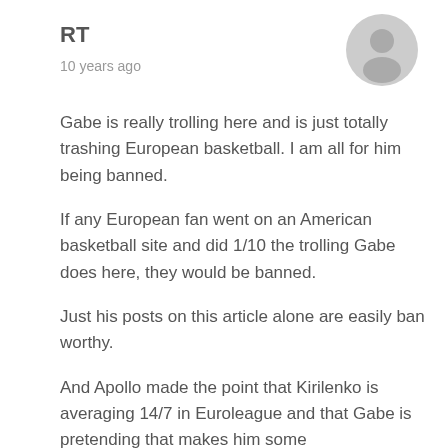RT
10 years ago
[Figure (illustration): Generic grey user avatar icon (silhouette of a person in a circle)]
Gabe is really trolling here and is just totally trashing European basketball. I am all for him being banned.

If any European fan went on an American basketball site and did 1/10 the trolling Gabe does here, they would be banned.

Just his posts on this article alone are easily ban worthy.

And Apollo made the point that Kirilenko is averaging 14/7 in Euroleague and that Gabe is pretending that makes him some